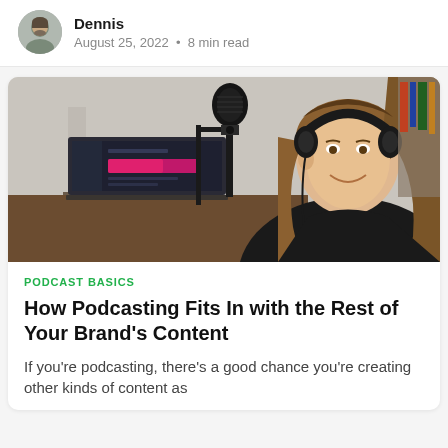Dennis
August 25, 2022 • 8 min read
[Figure (photo): Woman with headphones sitting at a desk in front of a professional microphone and a laptop with a pink/magenta bar on screen, in a podcast recording setup.]
PODCAST BASICS
How Podcasting Fits In with the Rest of Your Brand's Content
If you're podcasting, there's a good chance you're creating other kinds of content as